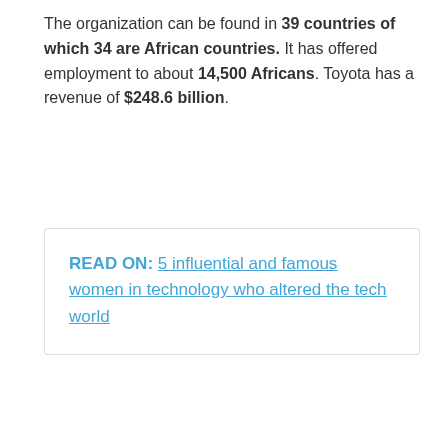The organization can be found in 39 countries of which 34 are African countries. It has offered employment to about 14,500 Africans. Toyota has a revenue of $248.6 billion.
READ ON:  5 influential and famous women in technology who altered the tech world